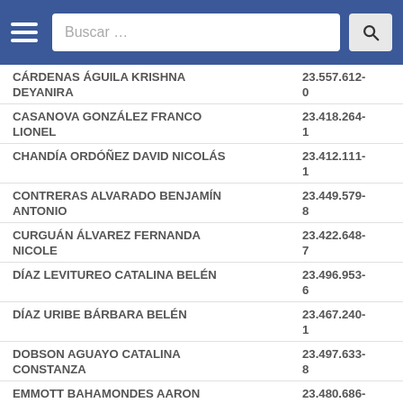[Figure (screenshot): Mobile app header bar with hamburger menu, search box labeled 'Buscar ...' and search button]
| Nombre | RUT |
| --- | --- |
| CÁRDENAS ÁGUILA KRISHNA DEYANIRA | 23.557.612-0 |
| CASANOVA GONZÁLEZ FRANCO LIONEL | 23.418.264-1 |
| CHANDÍA ORDÓÑEZ DAVID NICOLÁS | 23.412.111-1 |
| CONTRERAS ALVARADO BENJAMÍN ANTONIO | 23.449.579-8 |
| CURGUÁN ÁLVAREZ FERNANDA NICOLE | 23.422.648-7 |
| DÍAZ LEVITUREO CATALINA BELÉN | 23.496.953-6 |
| DÍAZ URIBE BÁRBARA BELÉN | 23.467.240-1 |
| DOBSON AGUAYO CATALINA CONSTANZA | 23.497.633-8 |
| EMMOTT BAHAMONDES AARON ALEXANDER | 23.480.686-6 |
| ENRÍQUEZ URREA STEFANIE KPSHPE | 23.963.194-0 |
| FRANKANSILA ANTONELLA ... | 23.XXX.XXX-X |